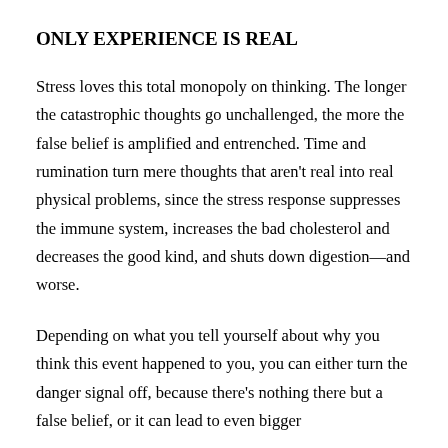ONLY EXPERIENCE IS REAL
Stress loves this total monopoly on thinking. The longer the catastrophic thoughts go unchallenged, the more the false belief is amplified and entrenched. Time and rumination turn mere thoughts that aren't real into real physical problems, since the stress response suppresses the immune system, increases the bad cholesterol and decreases the good kind, and shuts down digestion—and worse.
Depending on what you tell yourself about why you think this event happened to you, you can either turn the danger signal off, because there's nothing there but a false belief, or it can lead to even bigger